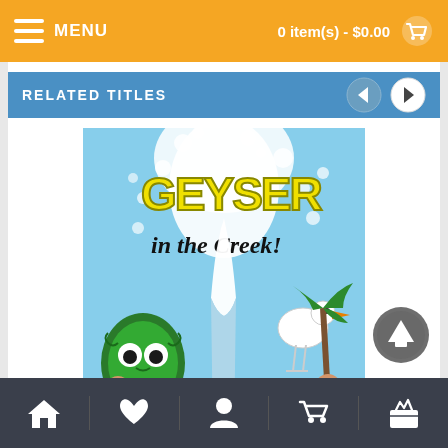MENU   0 item(s) - $0.00
RELATED TITLES
[Figure (illustration): Book cover of 'Geyser in the Creek' by David McGill — colorful cartoon illustration showing a geyser erupting from a creek, with Maori tiki figure, a stork, palm trees, children, and the title in bubble letters]
Home | Favorites | Account | Cart | Basket